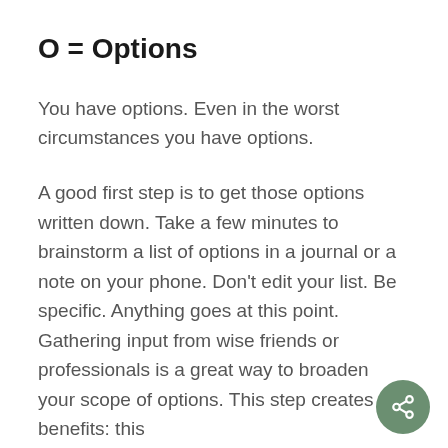O = Options
You have options. Even in the worst circumstances you have options.
A good first step is to get those options written down. Take a few minutes to brainstorm a list of options in a journal or a note on your phone. Don't edit your list. Be specific. Anything goes at this point. Gathering input from wise friends or professionals is a great way to broaden your scope of options. This step creates two benefits: this